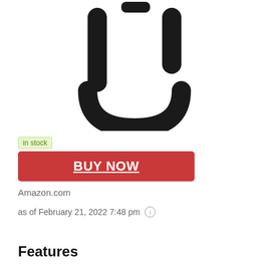[Figure (photo): Product photo of a black U-lock bicycle lock viewed from above, showing the U-shaped shackle and crossbar]
in stock
BUY NOW
Amazon.com
as of February 21, 2022 7:48 pm
Features